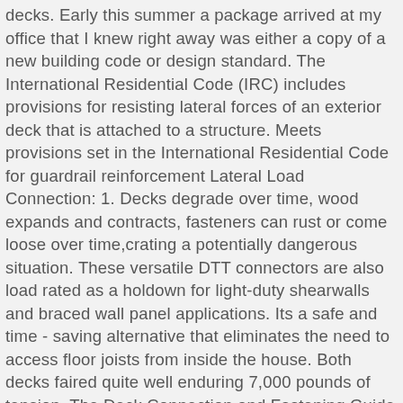decks. Early this summer a package arrived at my office that I knew right away was either a copy of a new building code or design standard. The International Residential Code (IRC) includes provisions for resisting lateral forces of an exterior deck that is attached to a structure. Meets provisions set in the International Residential Code for guardrail reinforcement Lateral Load Connection: 1. Decks degrade over time, wood expands and contracts, fasteners can rust or come loose over time,crating a potentially dangerous situation. These versatile DTT connectors are also load rated as a holdown for light-duty shearwalls and braced wall panel applications. Its a safe and time - saving alternative that eliminates the need to access floor joists from inside the house. Both decks faired quite well enduring 7,000 pounds of tension. The Deck Connection and Fastening Guide provides instructions on how to recognize defects and deficiencies in existing decks, and guidance for building strong, safe, long-lasting deck structures. These versatile DTT connectors are also load rated as a holdown for light-